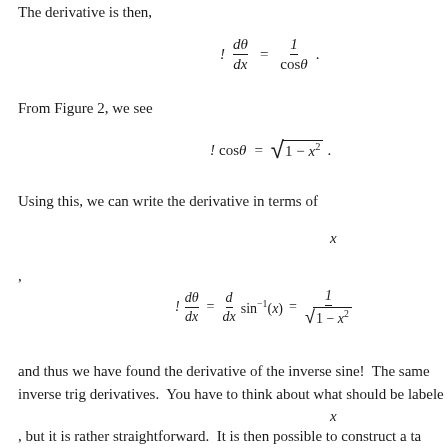The derivative is then,
From Figure 2, we see
Using this, we can write the derivative in terms of
,
and thus we have found the derivative of the inverse sine!  The same inverse trig derivatives.  You have to think about what should be labele
, but it is rather straightforward.  It is then possible to construct a ta